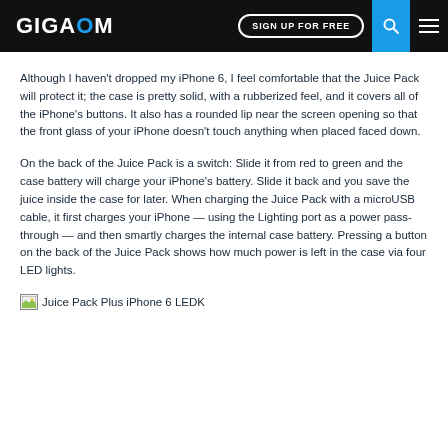GIGAOM | SIGN UP FOR FREE
Although I haven't dropped my iPhone 6, I feel comfortable that the Juice Pack will protect it; the case is pretty solid, with a rubberized feel, and it covers all of the iPhone's buttons. It also has a rounded lip near the screen opening so that the front glass of your iPhone doesn't touch anything when placed faced down.
On the back of the Juice Pack is a switch: Slide it from red to green and the case battery will charge your iPhone's battery. Slide it back and you save the juice inside the case for later. When charging the Juice Pack with a microUSB cable, it first charges your iPhone — using the Lighting port as a power pass-through — and then smartly charges the internal case battery. Pressing a button on the back of the Juice Pack shows how much power is left in the case via four LED lights.
[Figure (photo): Broken image placeholder labeled: Juice Pack Plus iPhone 6 LEDK]